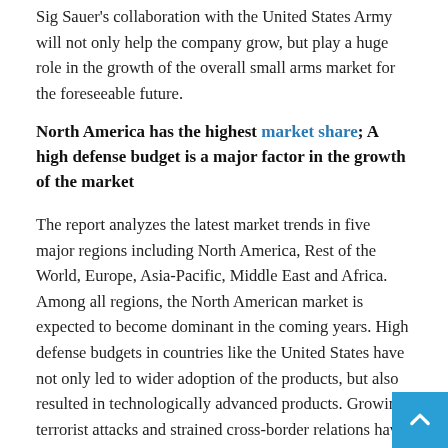Sig Sauer's collaboration with the United States Army will not only help the company grow, but play a huge role in the growth of the overall small arms market for the foreseeable future.
North America has the highest market share; A high defense budget is a major factor in the growth of the market
The report analyzes the latest market trends in five major regions including North America, Rest of the World, Europe, Asia-Pacific, Middle East and Africa. Among all regions, the North American market is expected to become dominant in the coming years. High defense budgets in countries like the United States have not only led to wider adoption of the products, but also resulted in technologically advanced products. Growing terrorist attacks and strained cross-border relations have also contributed to the growth of the small arms market in this region. In 2019, the market in North America was worth $ 1.56 billion and this value is expected to increase at a considerable rate in the coming years.